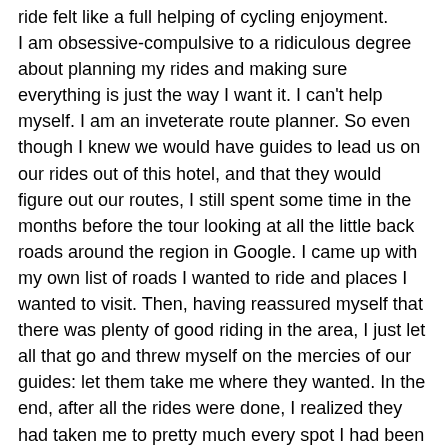ride felt like a full helping of cycling enjoyment. I am obsessive-compulsive to a ridiculous degree about planning my rides and making sure everything is just the way I want it. I can't help myself. I am an inveterate route planner. So even though I knew we would have guides to lead us on our rides out of this hotel, and that they would figure out our routes, I still spent some time in the months before the tour looking at all the little back roads around the region in Google. I came up with my own list of roads I wanted to ride and places I wanted to visit. Then, having reassured myself that there was plenty of good riding in the area, I just let all that go and threw myself on the mercies of our guides: let them take me where they wanted. In the end, after all the rides were done, I realized they had taken me to pretty much every spot I had been hoping to visit, down every little road I had thought looked like a winner. All the items on my bucket list got checked off. Getting out of the towns almost always required a few miles of busier boulevards and highways, but it only took a few minutes to be out onto little lanes and up into the hills. Most of our riding was in the southeastern corner of the region of Emilia-Romagna, just inland from those seaside resorts.